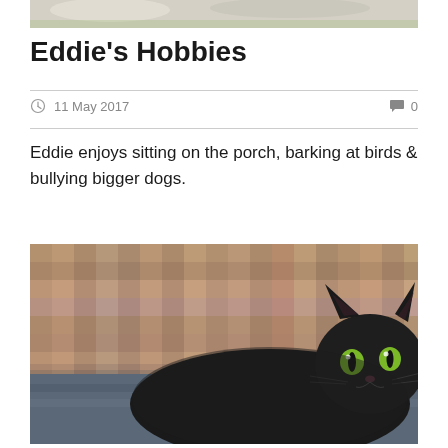[Figure (photo): Top portion of a photo showing what appears to be an animal outdoors, cropped at top of page]
Eddie's Hobbies
11 May 2017   0
Eddie enjoys sitting on the porch, barking at birds & bullying bigger dogs.
[Figure (photo): Close-up photo of a dark/black cat with green eyes lying on the floor, with a plaid checkered couch/sofa in the background]